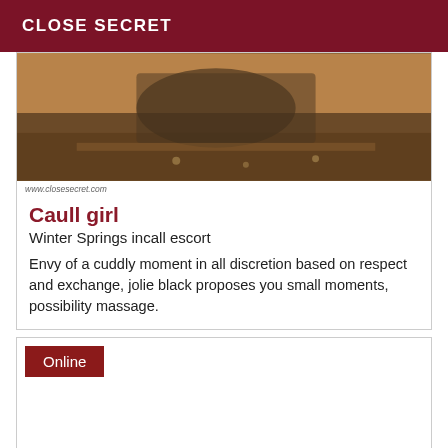CLOSE SECRET
[Figure (photo): A person crouching near water on a wooden surface, wearing dark clothing, with wet reflective floor visible.]
www.closesecret.com
Caull girl
Winter Springs incall escort
Envy of a cuddly moment in all discretion based on respect and exchange, jolie black proposes you small moments, possibility massage.
Online